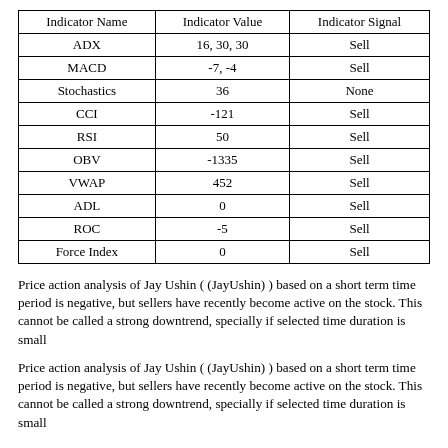| Indicator Name | Indicator Value | Indicator Signal |
| --- | --- | --- |
| ADX | 16, 30, 30 | Sell |
| MACD | -7, -4 | Sell |
| Stochastics | 36 | None |
| CCI | -121 | Sell |
| RSI | 50 | Sell |
| OBV | -1335 | Sell |
| VWAP | 452 | Sell |
| ADL | 0 | Sell |
| ROC | -5 | Sell |
| Force Index | 0 | Sell |
Price action analysis of Jay Ushin ( (JayUshin) ) based on a short term time period is negative, but sellers have recently become active on the stock. This cannot be called a strong downtrend, specially if selected time duration is small
Price action analysis of Jay Ushin ( (JayUshin) ) based on a short term time period is negative, but sellers have recently become active on the stock. This cannot be called a strong downtrend, specially if selected time duration is small